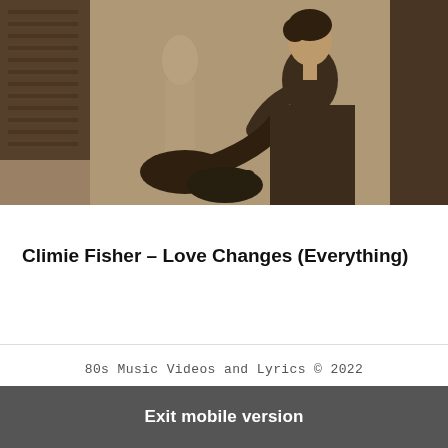[Figure (photo): Sepia-toned photograph of a woman in dark clothing sitting against a wall or door, appearing to be adjusting her boot. The image has a vintage 1980s aesthetic. Background shows architectural elements.]
1987
Climie Fisher – Love Changes (Everything)
80s Music Videos and Lyrics © 2022
Exit mobile version